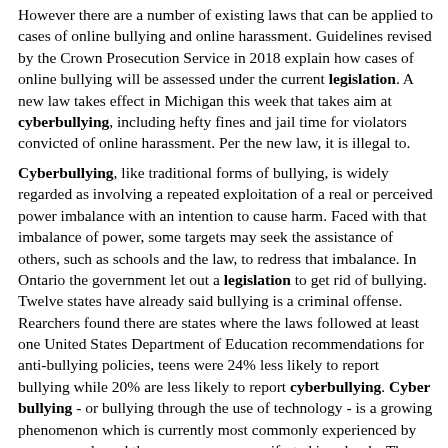However there are a number of existing laws that can be applied to cases of online bullying and online harassment. Guidelines revised by the Crown Prosecution Service in 2018 explain how cases of online bullying will be assessed under the current legislation. A new law takes effect in Michigan this week that takes aim at cyberbullying, including hefty fines and jail time for violators convicted of online harassment. Per the new law, it is illegal to.
Cyberbullying, like traditional forms of bullying, is widely regarded as involving a repeated exploitation of a real or perceived power imbalance with an intention to cause harm. Faced with that imbalance of power, some targets may seek the assistance of others, such as schools and the law, to redress that imbalance. In Ontario the government let out a legislation to get rid of bullying. Twelve states have already said bullying is a criminal offense. Rearchers found there are states where the laws followed at least one United States Department of Education recommendations for anti-bullying policies, teens were 24% less likely to report bullying while 20% are less likely to report cyberbullying. Cyber bullying - or bullying through the use of technology - is a growing phenomenon which is currently most commonly experienced by young people and the consequences manifested in schools. The laws for cyberbullying, harassment and online abuse. Cyberbullying, online harassment and digital abuse can in some cases (depending on where you are located and where the person